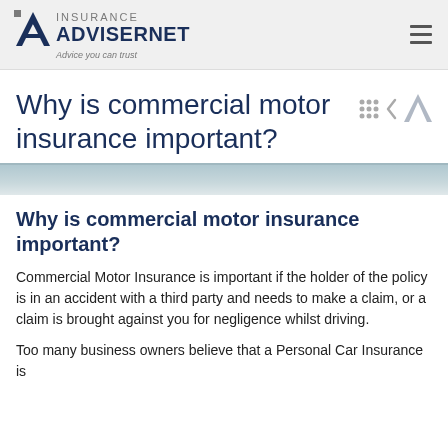Insurance Advisernet — Advice you can trust
Why is commercial motor insurance important?
[Figure (photo): Partial image strip of vehicles or road scene, cropped at top]
Why is commercial motor insurance important?
Commercial Motor Insurance is important if the holder of the policy is in an accident with a third party and needs to make a claim, or a claim is brought against you for negligence whilst driving.
Too many business owners believe that a Personal Car Insurance is